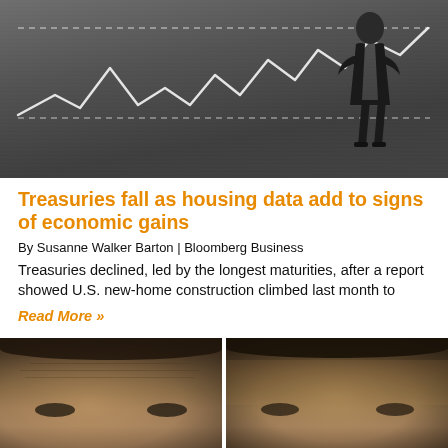[Figure (photo): Black and white photo of a businessman in a suit standing with hands on hips in front of a chalkboard with a drawn line chart showing market fluctuations trending upward]
Treasuries fall as housing data add to signs of economic gains
By Susanne Walker Barton | Bloomberg Business
Treasuries declined, led by the longest maturities, after a report showed U.S. new-home construction climbed last month to
Read More »
[Figure (photo): Two side-by-side close-up photos of men's faces/foreheads, appearing to show before and after comparison]